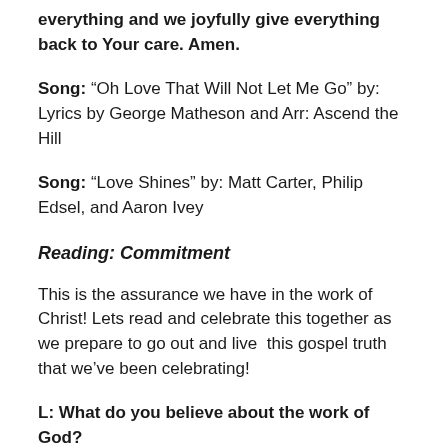everything and we joyfully give everything back to Your care. Amen.
Song: “Oh Love That Will Not Let Me Go” by: Lyrics by George Matheson and Arr: Ascend the Hill
Song: “Love Shines” by: Matt Carter, Philip Edsel, and Aaron Ivey
Reading: Commitment
This is the assurance we have in the work of Christ! Lets read and celebrate this together as we prepare to go out and live  this gospel truth that we’ve been celebrating!
L: What do you believe about the work of God?